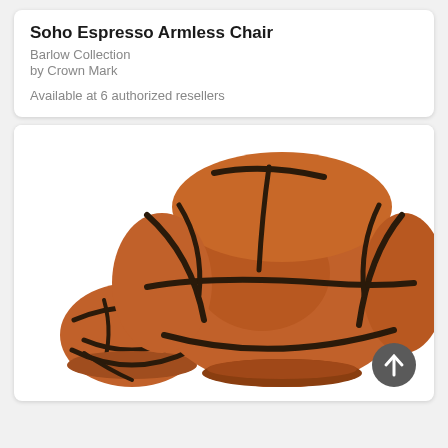Soho Espresso Armless Chair
Barlow Collection
by Crown Mark
Available at 6 authorized resellers
[Figure (photo): A basketball-themed armless chair and matching ottoman. The chair is large, round, and upholstered in brown/orange leather with dark brown seam lines mimicking a basketball. A smaller matching basketball-shaped ottoman sits in front-left. A dark gray circular scroll-to-top button with an upward arrow is in the bottom-right corner.]